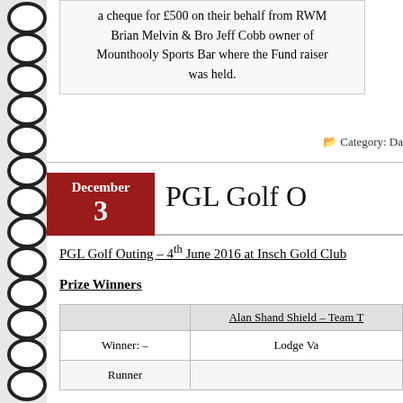a cheque for £500 on their behalf from RWM Brian Melvin & Bro Jeff Cobb owner of Mounthooly Sports Bar where the Fund raiser was held.
Category: Da
PGL Golf O
PGL Golf Outing – 4th June 2016 at Insch Gold Club
Prize Winners
|  | Alan Shand Shield – Team T |
| --- | --- |
| Winner: – |  | Lodge Va |
| Runner |  |  |